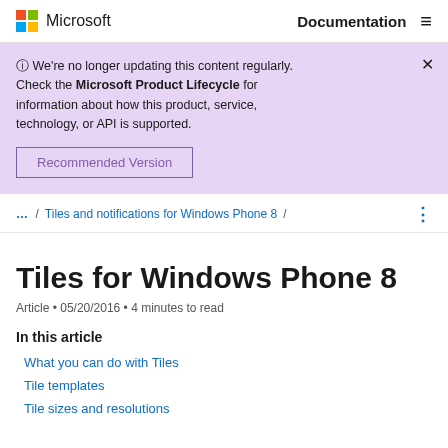Microsoft Documentation
ⓘ We're no longer updating this content regularly. Check the Microsoft Product Lifecycle for information about how this product, service, technology, or API is supported.
Recommended Version
... / Tiles and notifications for Windows Phone 8 /
Tiles for Windows Phone 8
Article • 05/20/2016 • 4 minutes to read
In this article
What you can do with Tiles
Tile templates
Tile sizes and resolutions